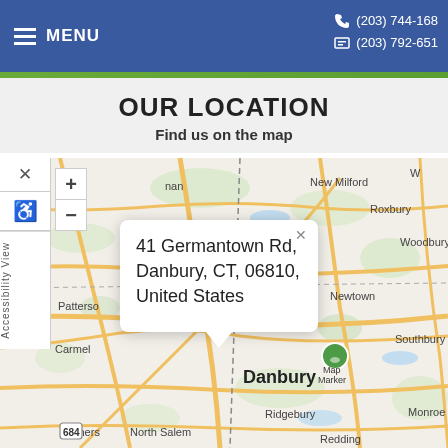MENU | (203) 744-168... | (203) 792-651...
OUR LOCATION
Find us on the map
[Figure (map): Interactive map showing location at 41 Germantown Rd, Danbury, CT, 06810, United States. Map displays surrounding area including New Milford, Roxbury, Woodbury, Southbury, Newtown, Danbury, Carmel, Patterson, Ridgebury, North Salem, Somers, Monroe, Redding. Zoom controls (+/-) visible. Map marker at Danbury location with popup showing full address.]